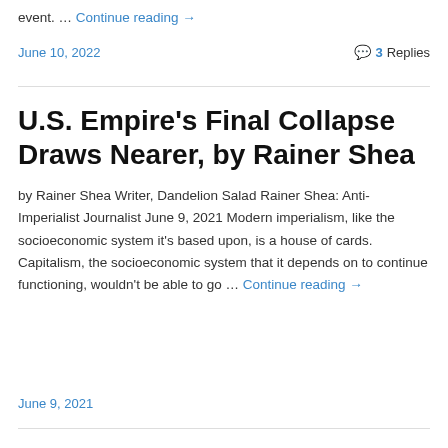event. … Continue reading →
June 10, 2022   💬 3 Replies
U.S. Empire's Final Collapse Draws Nearer, by Rainer Shea
by Rainer Shea Writer, Dandelion Salad Rainer Shea: Anti-Imperialist Journalist June 9, 2021 Modern imperialism, like the socioeconomic system it's based upon, is a house of cards. Capitalism, the socioeconomic system that it depends on to continue functioning, wouldn't be able to go … Continue reading →
June 9, 2021